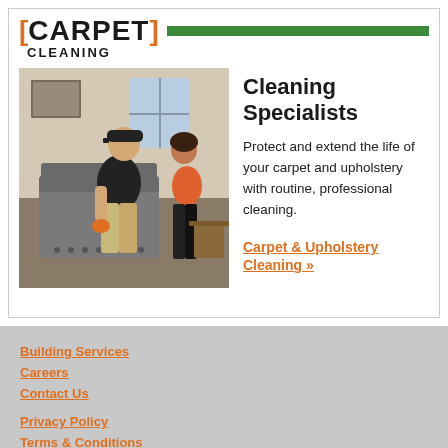[Figure (logo): Carpet Cleaning logo with orange brackets around CARPET text and green horizontal bar]
[Figure (photo): Photo of a cleaning specialist in black uniform and cap cleaning an upholstered chair while a woman in orange top watches]
Cleaning Specialists
Protect and extend the life of your carpet and upholstery with routine, professional cleaning.
Carpet & Upholstery Cleaning »
Building Services
Careers
Contact Us
Privacy Policy
Terms & Conditions
Site Map
Visit our corporate site
Contractor Licenses:
General: 2101193789
more info